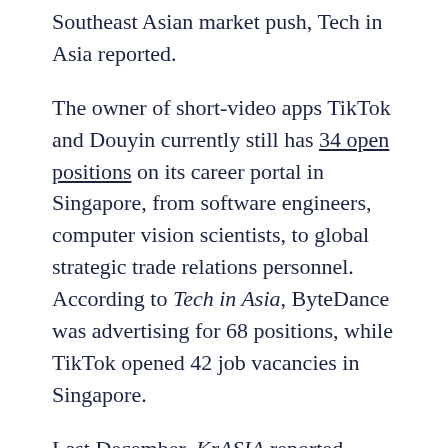Southeast Asian market push, Tech in Asia reported.
The owner of short-video apps TikTok and Douyin currently still has 34 open positions on its career portal in Singapore, from software engineers, computer vision scientists, to global strategic trade relations personnel. According to Tech in Asia, ByteDance was advertising for 68 positions, while TikTok opened 42 job vacancies in Singapore.
Last December, KrASIA reported about ByteDance's intentions to establish a global headquarter outside of China. Singapore was one of the potential locations abside...